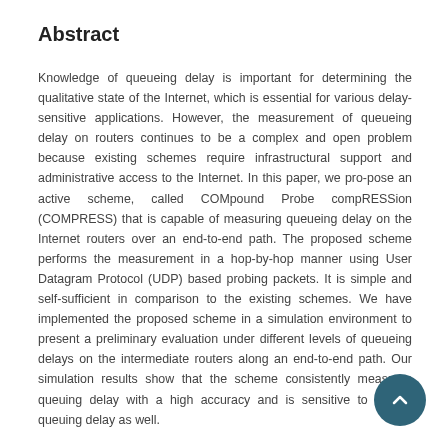Abstract
Knowledge of queueing delay is important for determining the qualitative state of the Internet, which is essential for various delay-sensitive applications. However, the measurement of queueing delay on routers continues to be a complex and open problem because existing schemes require infrastructural support and administrative access to the Internet. In this paper, we pro-pose an active scheme, called COMpound Probe compRESSion (COMPRESS) that is capable of measuring queueing delay on the Internet routers over an end-to-end path. The proposed scheme performs the measurement in a hop-by-hop manner using User Datagram Protocol (UDP) based probing packets. It is simple and self-sufficient in comparison to the existing schemes. We have implemented the proposed scheme in a simulation environment to present a preliminary evaluation under different levels of queueing delays on the intermediate routers along an end-to-end path. Our simulation results show that the scheme consistently measures queueing delay with a high accuracy and is sensitive to a light queueing delay as well.